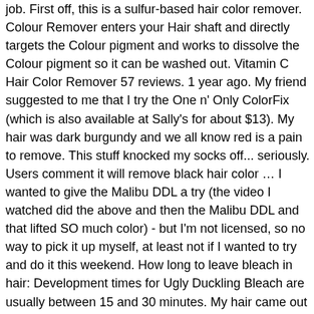job. First off, this is a sulfur-based hair color remover. Colour Remover enters your Hair shaft and directly targets the Colour pigment and works to dissolve the Colour pigment so it can be washed out. Vitamin C Hair Color Remover 57 reviews. 1 year ago. My friend suggested to me that I try the One n' Only ColorFix (which is also available at Sally's for about $13). My hair was dark burgundy and we all know red is a pain to remove. This stuff knocked my socks off... seriously. Users comment it will remove black hair color … I wanted to give the Malibu DDL a try (the video I watched did the above and then the Malibu DDL and that lifted SO much color) - but I'm not licensed, so no way to pick it up myself, at least not if I wanted to try and do it this weekend. How long to leave bleach in hair: Development times for Ugly Duckling Bleach are usually between 15 and 30 minutes. My hair came out as an orangy red, which pleased me greatly given that it had been black. Now the golden brown is starting to fade and plus my hair is growing out at the roots. Ok - cool. ... Vitamin C Hair Color Remover. Colorsilk Permanent Hair Color 738 reviews. Eyes Brown. Also, the next day my hair was darker again and only the dryness of my hair remained. If your color is already faded or your hair is a pastel color, you can mix this product with a 10-volume developer or warm water.